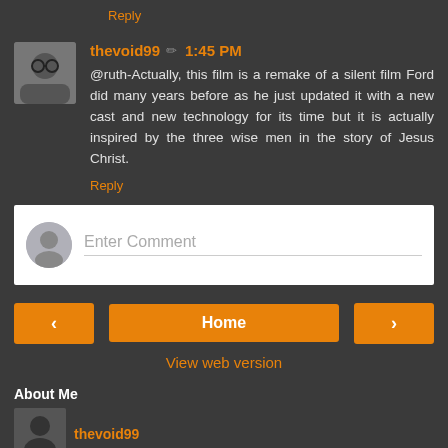Reply
thevoid99 ✏ 1:45 PM
@ruth-Actually, this film is a remake of a silent film Ford did many years before as he just updated it with a new cast and new technology for its time but it is actually inspired by the three wise men in the story of Jesus Christ.
Reply
Enter Comment
Home
View web version
About Me
thevoid99